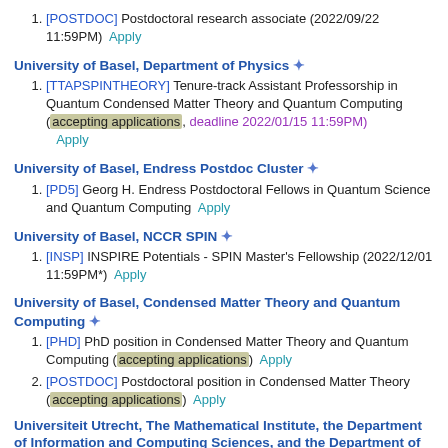1. [POSTDOC] Postdoctoral research associate (2022/09/22 11:59PM)  Apply
University of Basel, Department of Physics *
1. [TTAPSPINTHEORY] Tenure-track Assistant Professorship in Quantum Condensed Matter Theory and Quantum Computing (accepting applications, deadline 2022/01/15 11:59PM)  Apply
University of Basel, Endress Postdoc Cluster *
1. [PD5] Georg H. Endress Postdoctoral Fellows in Quantum Science and Quantum Computing  Apply
University of Basel, NCCR SPIN *
1. [INSP] INSPIRE Potentials - SPIN Master's Fellowship (2022/12/01 11:59PM*)  Apply
University of Basel, Condensed Matter Theory and Quantum Computing *
1. [PHD] PhD position in Condensed Matter Theory and Quantum Computing (accepting applications)  Apply
2. [POSTDOC] Postdoctoral position in Condensed Matter Theory (accepting applications)  Apply
Universiteit Utrecht, The Mathematical Institute, the Department of Information and Computing Sciences, and the Department of Physics *